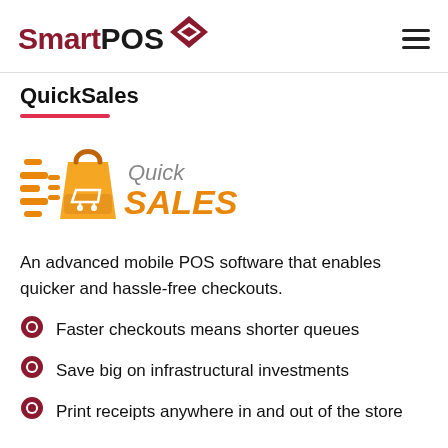SmartPOS
QuickSales
[Figure (logo): Quick SALES logo with an orange shopping bag and cart with speed lines]
An advanced mobile POS software that enables quicker and hassle-free checkouts.
Faster checkouts means shorter queues
Save big on infrastructural investments
Print receipts anywhere in and out of the store